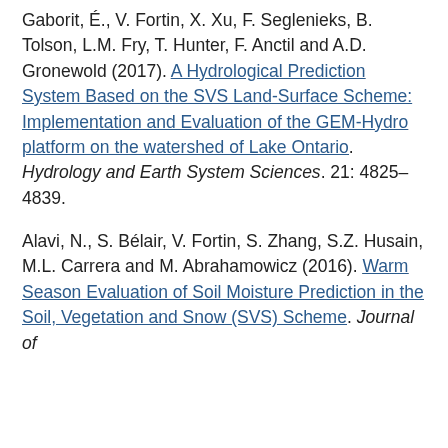Gaborit, É., V. Fortin, X. Xu, F. Seglenieks, B. Tolson, L.M. Fry, T. Hunter, F. Anctil and A.D. Gronewold (2017). A Hydrological Prediction System Based on the SVS Land-Surface Scheme: Implementation and Evaluation of the GEM-Hydro platform on the watershed of Lake Ontario. Hydrology and Earth System Sciences. 21: 4825–4839.
Alavi, N., S. Bélair, V. Fortin, S. Zhang, S.Z. Husain, M.L. Carrera and M. Abrahamowicz (2016). Warm Season Evaluation of Soil Moisture Prediction in the Soil, Vegetation and Snow (SVS) Scheme. Journal of